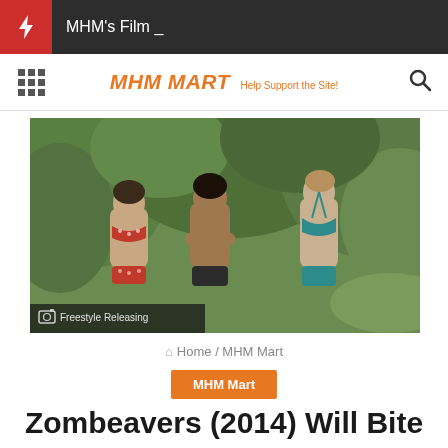MHM's Film _
[Figure (logo): MHM MART logo with tagline 'Help Support the Site!' in orange italic text, with grid icon and search icon]
[Figure (photo): Three women in bikinis standing outdoors near trees. Photo credit: Freestyle Releasing]
Home / MHM Mart
MHM Mart
Zombeavers (2014) Will Bite